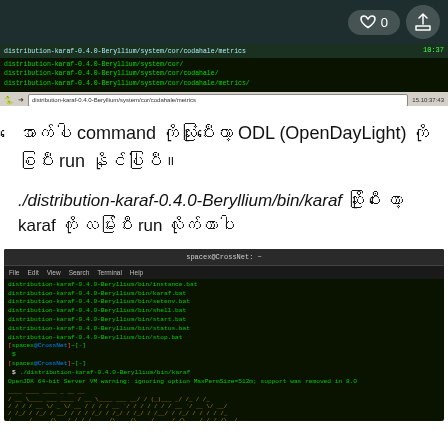♡ 0 [share icon]
[Figure (screenshot): Terminal screenshot showing distribution-karaf-0.4.0-Beryllium/system/cor/ paths in green text on dark background, with browser toolbar below]
အောက်ပါ command ကိုသုံးပြီးတော့ ODL (OpenDayLight) ကို စပြီး run နိုင်ပါပြီ။
./distribution-karaf-0.4.0-Beryllium/bin/karaf ဆိုပြီး တော့ karaf ကို လမ်းပြီး run လိုက်တာပါ
[Figure (screenshot): Terminal screenshot showing spacex@CrossNet with distribution-karaf-0.4.0-Beryllium/bin/ directory listing, karaf command execution, OpenDayLight ASCII art logo, and 'Hit tab for a list of available commands' message]